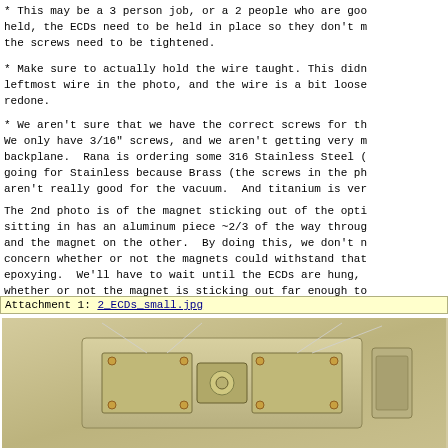* This may be a 3 person job, or a 2 people who are goo held, the ECDs need to be held in place so they don't m the screws need to be tightened.
* Make sure to actually hold the wire taught. This didn leftmost wire in the photo, and the wire is a bit loose redone.
* We aren't sure that we have the correct screws for th We only have 3/16" screws, and we aren't getting very m backplane.  Rana is ordering some 316 Stainless Steel ( going for Stainless because Brass (the screws in the ph aren't really good for the vacuum.  And titanium is ver
The 2nd photo is of the magnet sticking out of the opti sitting in has an aluminum piece ~2/3 of the way throug and the magnet on the other.  By doing this, we don't n concern whether or not the magnets could withstand that epoxying.  We'll have to wait until the ECDs are hung, whether or not the magnet is sticking out far enough to
Attachment 1: 2_ECDs_small.jpg
[Figure (photo): Photo of two ECDs (electrostatic charge detectors) mounted on a backplate, showing magnets and wiring on a metallic/beige surface]